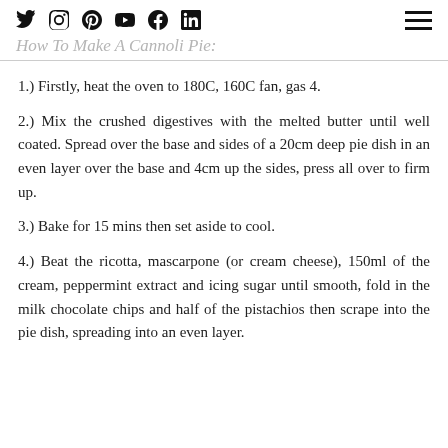Social media icons: Twitter, Instagram, Pinterest, YouTube, Facebook, LinkedIn | Hamburger menu
How To Make A Cannoli Pie:
1.) Firstly, heat the oven to 180C, 160C fan, gas 4.
2.) Mix the crushed digestives with the melted butter until well coated. Spread over the base and sides of a 20cm deep pie dish in an even layer over the base and 4cm up the sides, press all over to firm up.
3.) Bake for 15 mins then set aside to cool.
4.) Beat the ricotta, mascarpone (or cream cheese), 150ml of the cream, peppermint extract and icing sugar until smooth, fold in the milk chocolate chips and half of the pistachios then scrape into the pie dish, spreading into an even layer.